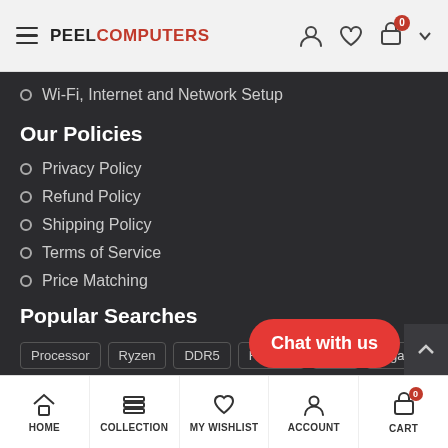PEEL COMPUTERS
Wi-Fi, Internet and Network Setup
Our Policies
Privacy Policy
Refund Policy
Shipping Policy
Terms of Service
Price Matching
Popular Searches
Processor  Ryzen  DDR5  Radeon  Intel  Gigabyte  MSI  RTX  Crypto  nVidia  3080  6800 XT
HOME  COLLECTION  MY WISHLIST  ACCOUNT  CART